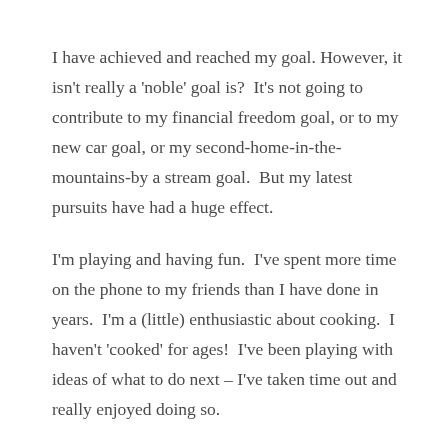I have achieved and reached my goal. However, it isn't really a 'noble' goal is? It's not going to contribute to my financial freedom goal, or to my new car goal, or my second-home-in-the-mountains-by a stream goal. But my latest pursuits have had a huge effect.
I'm playing and having fun. I've spent more time on the phone to my friends than I have done in years. I'm a (little) enthusiastic about cooking. I haven't 'cooked' for ages! I've been playing with ideas of what to do next – I've taken time out and really enjoyed doing so.